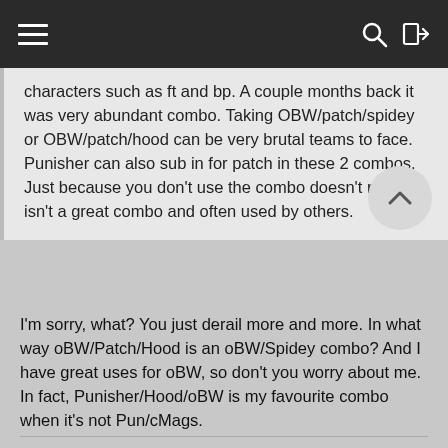Navigation bar with menu, search, and login icons
characters such as ft and bp. A couple months back it was very abundant combo. Taking OBW/patch/spidey or OBW/patch/hood can be very brutal teams to face. Punisher can also sub in for patch in these 2 combos. Just because you don't use the combo doesn't mean it isn't a great combo and often used by others.
I'm sorry, what? You just derail more and more. In what way oBW/Patch/Hood is an oBW/Spidey combo? And I have great uses for oBW, so don't you worry about me. In fact, Punisher/Hood/oBW is my favourite combo when it's not Pun/cMags.